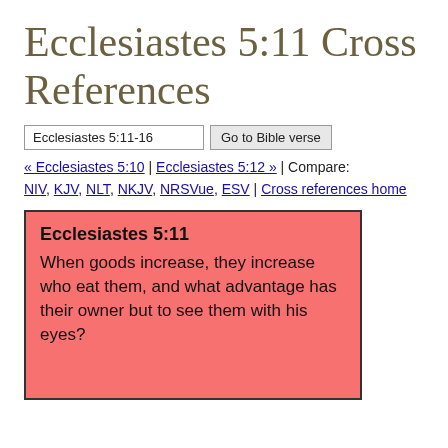Ecclesiastes 5:11 Cross References
Ecclesiastes 5:11-16 | Go to Bible verse
« Ecclesiastes 5:10 | Ecclesiastes 5:12 » | Compare: NIV, KJV, NLT, NKJV, NRSVue, ESV | Cross references home
Ecclesiastes 5:11
When goods increase, they increase who eat them, and what advantage has their owner but to see them with his eyes?